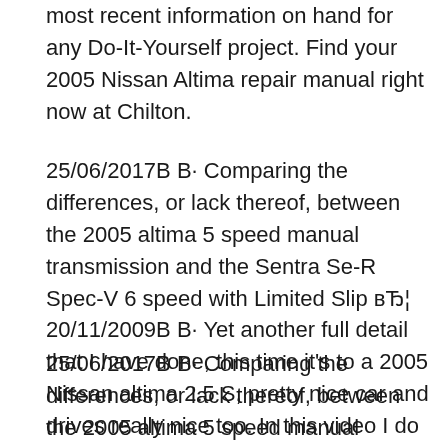most recent information on hand for any Do-It-Yourself project. Find your 2005 Nissan Altima repair manual right now at Chilton.
25/06/2017В В· Comparing the differences, or lack thereof, between the 2005 altima 5 speed manual transmission and the Sentra Se-R Spec-V 6 speed with Limited Slip вЂ¦ 20/11/2009В В· Yet another full detail that I have done, this time it's to a 2005 Nissan altima 2.5 S, pretty nice car and drives really nice too. In this video I do a full tour, engine shot, start up, and take
25/06/2017В В· Comparing the differences, or lack thereof, between the 2005 altima 5 speed manual transmission and the Sentra Se-R Spec-V 6 speed with Limited Slip вЂ¦ 25/06/2017В В·